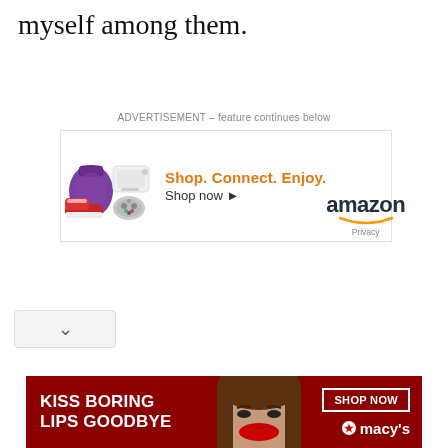myself among them.
ADVERTISEMENT – feature continues below
[Figure (other): Amazon advertisement banner: products image (purple bag, red sneakers, Xbox controller, white Xbox console), tagline 'Shop. Connect. Enjoy.' in orange, 'Shop now ▸' in black, Amazon logo with smile arrow, Privacy link]
[Figure (other): Macy's advertisement banner with dark red background: 'KISS BORING LIPS GOODBYE' text in white on left, woman's face with red lips in center, 'SHOP NOW' button in white border and Macy's star logo on right]